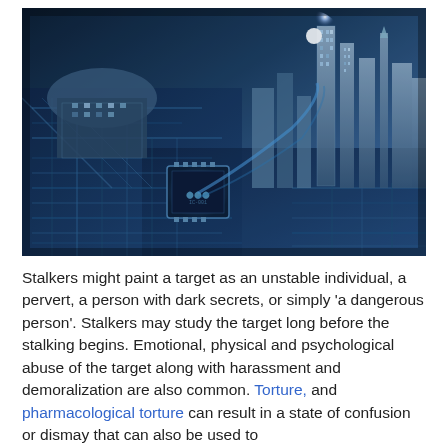[Figure (illustration): A dramatic digital illustration showing a futuristic cityscape emerging from a circuit board, with tall skyscrapers blending into electronic components, all in shades of blue and grey with a bright light source in the upper right.]
Stalkers might paint a target as an unstable individual, a pervert, a person with dark secrets, or simply 'a dangerous person'. Stalkers may study the target long before the stalking begins. Emotional, physical and psychological abuse of the target along with harassment and demoralization are also common. Torture, and pharmacological torture can result in a state of confusion or dismay that can also be used to